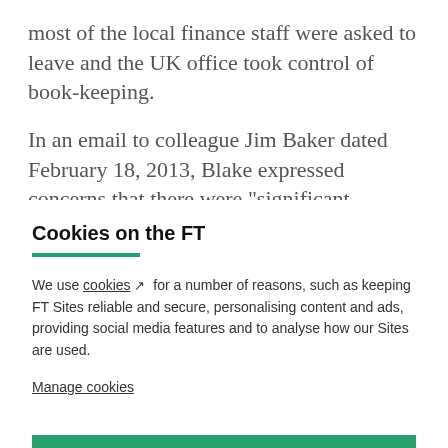most of the local finance staff were asked to leave and the UK office took control of book-keeping.
In an email to colleague Jim Baker dated February 18, 2013, Blake expressed concerns that there were "significant inadequacies of the general book-keeping
Cookies on the FT
We use cookies ↗ for a number of reasons, such as keeping FT Sites reliable and secure, personalising content and ads, providing social media features and to analyse how our Sites are used.
Manage cookies
Accept & continue